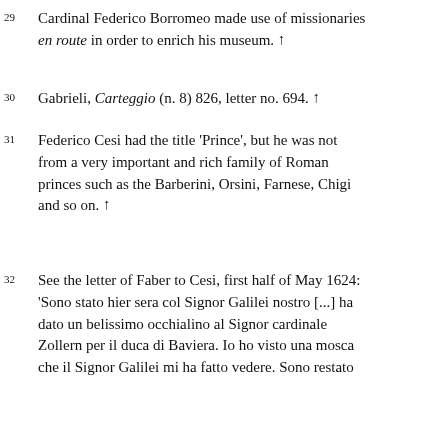29 Cardinal Federico Borromeo made use of missionaries en route in order to enrich his museum. ↑
30 Gabrieli, Carteggio (n. 8) 826, letter no. 694. ↑
31 Federico Cesi had the title 'Prince', but he was not from a very important and rich family of Roman princes such as the Barberini, Orsini, Farnese, Chigi and so on. ↑
32 See the letter of Faber to Cesi, first half of May 1624: 'Sono stato hier sera col Signor Galilei nostro [...] ha dato un belissimo occhialino al Signor cardinale Zollern per il duca di Baviera. Io ho visto una mosca che il Signor Galilei mi ha fatto vedere. Sono restato